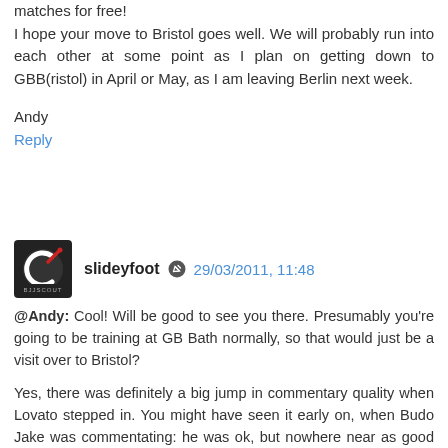matches for free!
I hope your move to Bristol goes well. We will probably run into each other at some point as I plan on getting down to GBB(ristol) in April or May, as I am leaving Berlin next week.
Andy
Reply
slideyfoot  29/03/2011, 11:48
@Andy: Cool! Will be good to see you there. Presumably you're going to be training at GB Bath normally, so that would just be a visit over to Bristol?

Yes, there was definitely a big jump in commentary quality when Lovato stepped in. You might have seen it early on, when Budo Jake was commentating: he was ok, but nowhere near as good as Shawn Williams, Caleb or Lovato (which is understandable, as I don't think he has their experience).